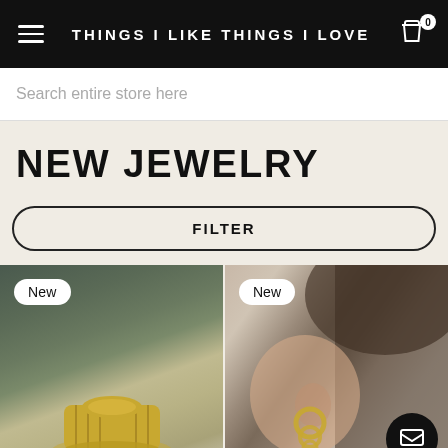THINGS I LIKE THINGS I LOVE
Search entire store here
NEW JEWELRY
FILTER
[Figure (photo): Product photo of a gold signet ring on a light background, with a 'New' badge overlay]
[Figure (photo): Photo of a woman's ear wearing gold hoop earrings, with a 'New' badge overlay and a chat/envelope button in the bottom right corner]